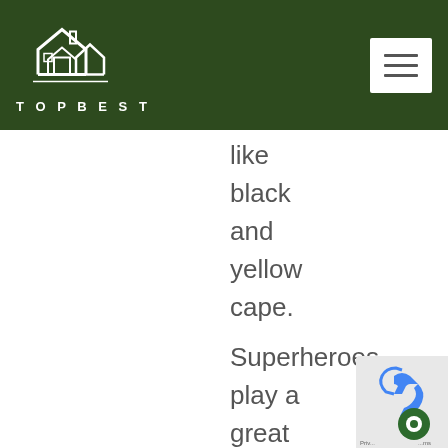TOPBEST
like black and yellow cape. Superheroes play a great role to children and to